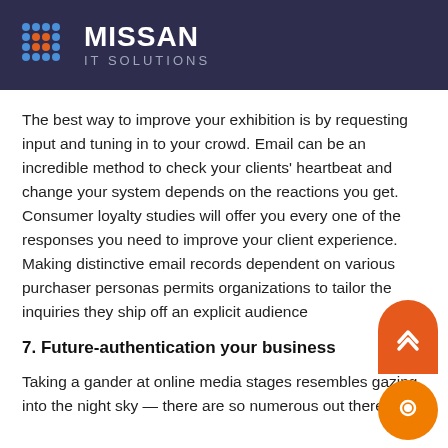MISSAN IT SOLUTIONS
The best way to improve your exhibition is by requesting input and tuning in to your crowd. Email can be an incredible method to check your clients' heartbeat and change your system depends on the reactions you get. Consumer loyalty studies will offer you every one of the responses you need to improve your client experience. Making distinctive email records dependent on various purchaser personas permits organizations to tailor the inquiries they ship off an explicit audience
7. Future-authentication your business
Taking a gander at online media stages resembles gazing into the night sky — there are so numerous out there. In